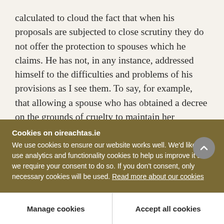calculated to cloud the fact that when his proposals are subjected to close scrutiny they do not offer the protection to spouses which he claims. He has not, in any instance, addressed himself to the difficulties and problems of his provisions as I see them. To say, for example, that allowing a spouse who has obtained a decree on the grounds of cruelty to maintain her succession rights, would afford her security for the future is simply not true. As Deputy Shatter acknowledged, a husband can dispose of his
Cookies on oireachtas.ie
We use cookies to ensure our website works well. We'd like to use analytics and functionality cookies to help us improve it but we require your consent to do so. If you don't consent, only necessary cookies will be used. Read more about our cookies
Manage cookies
Accept all cookies